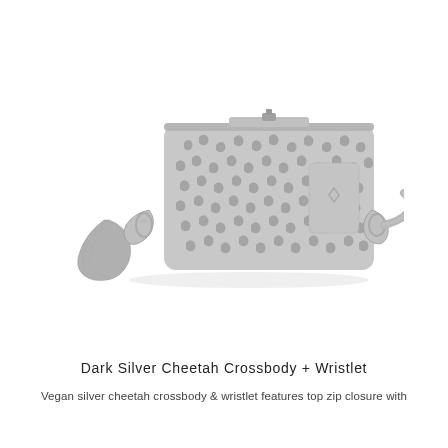[Figure (photo): A gray/silver cheetah print crossbody bag and wristlet. The bag has a zip top closure, silver hardware, a detachable crossbody strap, and a braided wristlet strap attached on the left side. The pattern features dark gray cheetah spots on a lighter gray background.]
Dark Silver Cheetah Crossbody + Wristlet
Vegan silver cheetah crossbody & wristlet features top zip closure with